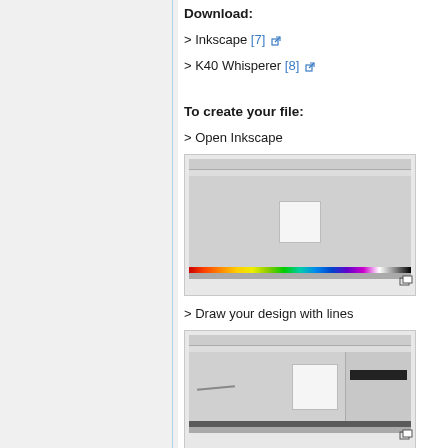Download:
> Inkscape [7]
> K40 Whisperer [8]
To create your file:
> Open Inkscape
[Figure (screenshot): Inkscape application window showing an open document with a white rectangle on the canvas and a color palette bar at the bottom]
> Draw your design with lines
[Figure (screenshot): Inkscape application window showing a line drawn on the canvas with a properties panel on the right side]